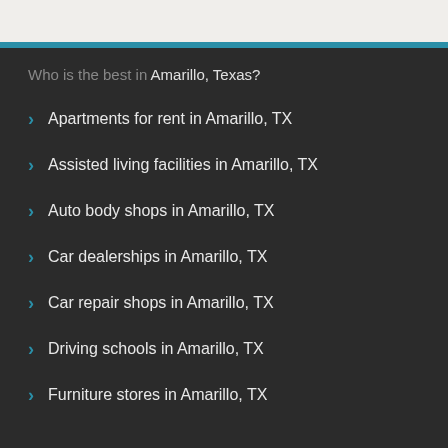Who is the best in Amarillo, Texas?
Apartments for rent in Amarillo, TX
Assisted living facilities in Amarillo, TX
Auto body shops in Amarillo, TX
Car dealerships in Amarillo, TX
Car repair shops in Amarillo, TX
Driving schools in Amarillo, TX
Furniture stores in Amarillo, TX